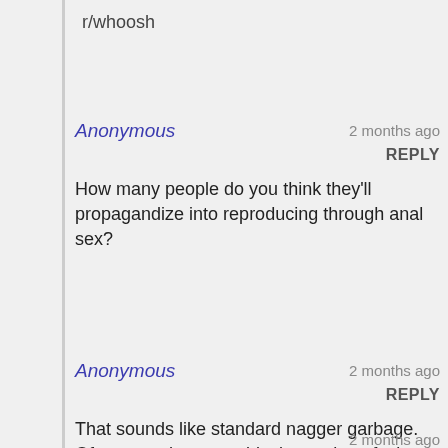r/whoosh
Anonymous — 2 months ago REPLY
How many people do you think they'll propagandize into reproducing through anal sex?
Anonymous — 2 months ago REPLY
That sounds like standard nagger garbage. Of courrse they want black people to fuck each other.
2 months ago